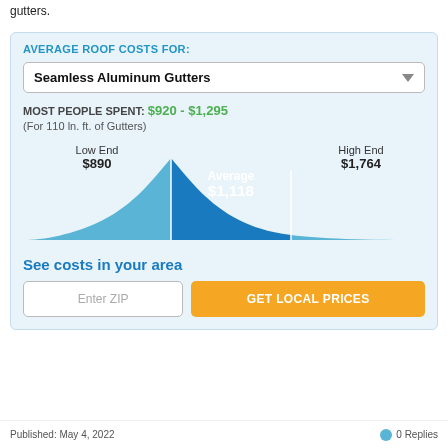gutters.
AVERAGE ROOF COSTS FOR:
Seamless Aluminum Gutters
MOST PEOPLE SPENT: $920 - $1,295
(For 110 ln. ft. of Gutters)
[Figure (continuous-plot): Bell curve showing cost distribution with Low End $890, Average $1,118, High End $1,764. The middle (average) section is highlighted in darker blue.]
See costs in your area
Enter ZIP
GET LOCAL PRICES
Published: May 4, 2022    0 Replies